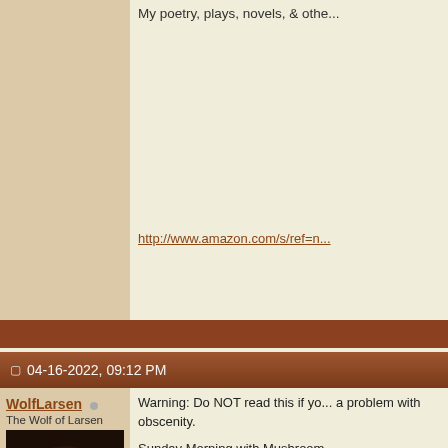My poetry, plays, novels, & othe...
http://www.amazon.com/s/ref=n...
04-16-2022, 09:12 PM
WolfLarsen
The Wolf of Larsen
[Figure (photo): Avatar photo of a man with dark hair against dark background]
Join Date: Nov 2005
Location: Creating a new universe
Posts: 1,993
Blog Entries: 93
Warning: Do NOT read this if yo... a problem with obscenity.

Sunday Morning with Mushroom...
A poem by Wolf Larsen

Repent!
Repent for the penises of space...
Repent for the giant testicles in...
Glory hallelujah!
Glory hallelujah to the fish ****in...
Glory hallelujah to the whoops a... nipples!
The time has cum!
The time has cum for the USA t...
The time has cum for the liberal... toilets!